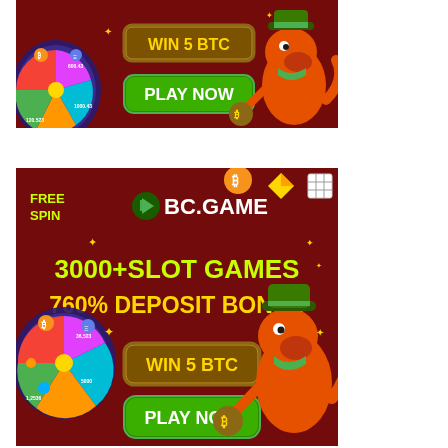[Figure (illustration): BC.GAME casino advertisement banner. Dark red background with casino wheel on left showing cryptocurrency amounts (600.43, 1000.43, 120.523). Center shows 'WIN 5 BTC' button and 'PLAY NOW' green button. Right side shows cartoon orange dinosaur in cowboy hat holding Bitcoin bag. Yellow stars/sparkles decoration.]
[Figure (illustration): BC.GAME casino advertisement banner (larger). Dark red/maroon background. Top-left: 'FREE SPIN' text in yellow-green. BC.GAME logo with green leaf icon. Text: '3000+SLOT GAMES' in bright green, '760% DEPOSIT BONUS' in yellow. Bottom center: 'WIN 5 BTC' brown button, 'PLAY NOW' green button. Left: casino spin wheel with crypto amounts (36,523, 5000, 1,2536). Right: cartoon orange dinosaur in cowboy hat with Bitcoin bag. Gold diamond and Bitcoin coin decorations. Small table icon in top-right corner.]